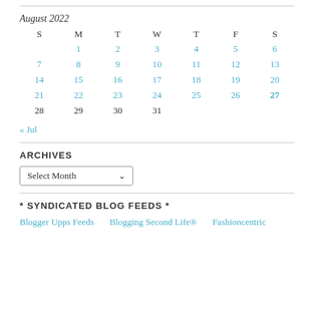| S | M | T | W | T | F | S |
| --- | --- | --- | --- | --- | --- | --- |
|  | 1 | 2 | 3 | 4 | 5 | 6 |
| 7 | 8 | 9 | 10 | 11 | 12 | 13 |
| 14 | 15 | 16 | 17 | 18 | 19 | 20 |
| 21 | 22 | 23 | 24 | 25 | 26 | 27 |
| 28 | 29 | 30 | 31 |  |  |  |
« Jul
ARCHIVES
Select Month
* SYNDICATED BLOG FEEDS *
Blogger Upps Feeds
Blogging Second Life®
Fashioncentric